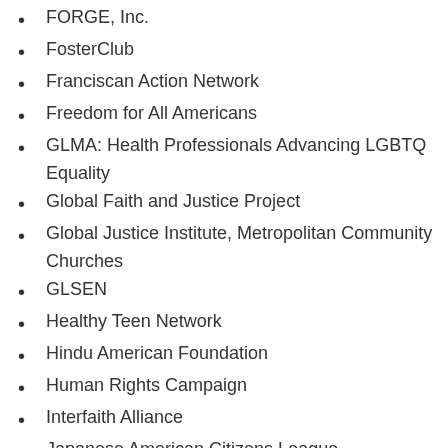FORGE, Inc.
FosterClub
Franciscan Action Network
Freedom for All Americans
GLMA: Health Professionals Advancing LGBTQ Equality
Global Faith and Justice Project
Global Justice Institute, Metropolitan Community Churches
GLSEN
Healthy Teen Network
Hindu American Foundation
Human Rights Campaign
Interfaith Alliance
Japanese American Citizens League
Jewish Council for Public Affairs
The Jewish Federations of North America